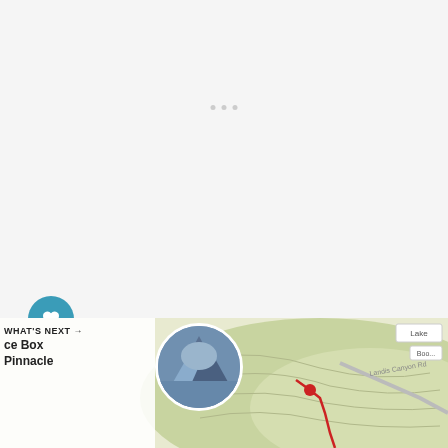[Figure (screenshot): Light gray empty top area of a mobile app screen with three small gray dots in the center]
Distance: ~2.5 miles
[Figure (screenshot): WHAT'S NEXT arrow label with 'ce Box Pinnacle' text and a circular thumbnail photo of a rocky mountain peak, alongside a topographic map showing a red trail route]
WHAT'S NEXT → ce Box Pinnacle